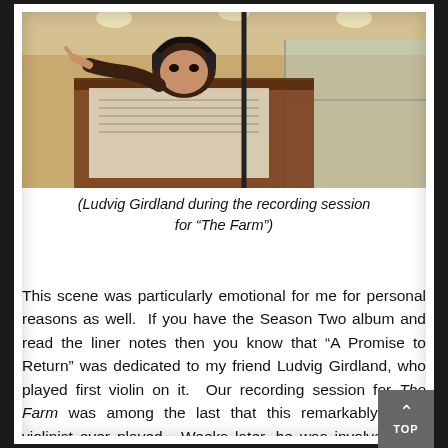[Figure (photo): Ludvig Girdland playing violin during a recording session, wearing headphones, leaning over sheet music in a recording studio with wood paneling and glass windows visible in the background.]
(Ludvig Girdland during the recording session for “The Farm”)
This scene was particularly emotional for me for personal reasons as well. If you have the Season Two album and read the liner notes then you know that “A Promise to Return” was dedicated to my friend Ludvig Girdland, who played first violin on it. Our recording session for The Farm was among the last that this remarkably gifted violinist ever played. Weeks later, he was involved in a tragic automobile accident, instigated by a drunk driver